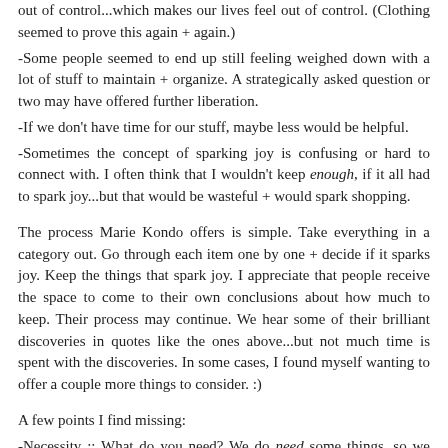out of control...which makes our lives feel out of control. (Clothing seemed to prove this again + again.)
-Some people seemed to end up still feeling weighed down with a lot of stuff to maintain + organize. A strategically asked question or two may have offered further liberation.
-If we don't have time for our stuff, maybe less would be helpful.
-Sometimes the concept of sparking joy is confusing or hard to connect with. I often think that I wouldn't keep enough, if it all had to spark joy...but that would be wasteful + would spark shopping.
The process Marie Kondo offers is simple. Take everything in a category out. Go through each item one by one + decide if it sparks joy. Keep the things that spark joy. I appreciate that people receive the space to come to their own conclusions about how much to keep. Their process may continue. We hear some of their brilliant discoveries in quotes like the ones above...but not much time is spent with the discoveries. In some cases, I found myself wanting to offer a couple more things to consider. :)
A few points I find missing:
-Necessity :: What do you need? We do need some things, so we could